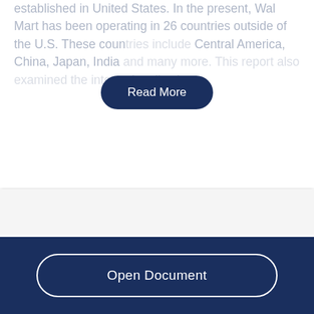established in United States. In the present, Wal Mart has been operating in 26 countries outside of the U.S. These countries include Central America, China, Japan, India and many more. This report also examined the internationalization...
[Figure (other): Dark navy blue rounded pill-shaped button labeled 'Read More' in white text, overlaying the faded text content]
Popular Essays
[Figure (other): Dark navy blue footer bar with an 'Open Document' button outlined in white with rounded pill shape]